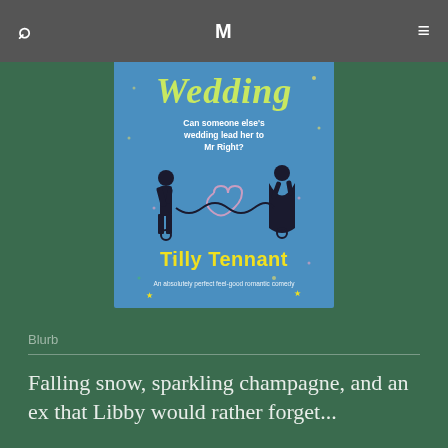🔍  M  ≡
[Figure (illustration): Book cover for 'Friends Wedding' by Tilly Tennant. Blue background with silhouettes of a man and woman, yellow title text reading 'Friends Wedding', tagline 'Can someone else's wedding lead her to Mr Right?', author name 'Tilly Tennant' in bold yellow, subtitle 'An absolutely perfect feel-good romantic comedy'.]
Blurb
Falling snow, sparkling champagne, and an ex that Libby would rather forget...